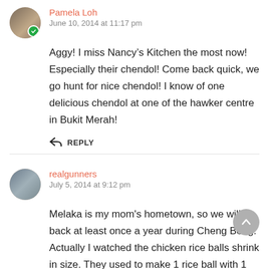Pamela Loh
June 10, 2014 at 11:17 pm
Aggy! I miss Nancy’s Kitchen the most now! Especially their chendol! Come back quick, we go hunt for nice chendol! I know of one delicious chendol at one of the hawker centre in Bukit Merah!
REPLY
realgunners
July 5, 2014 at 9:12 pm
Melaka is my mom's hometown, so we will go back at least once a year during Cheng Beng. Actually I watched the chicken rice balls shrink in size. They used to make 1 rice ball with 1 bowl of